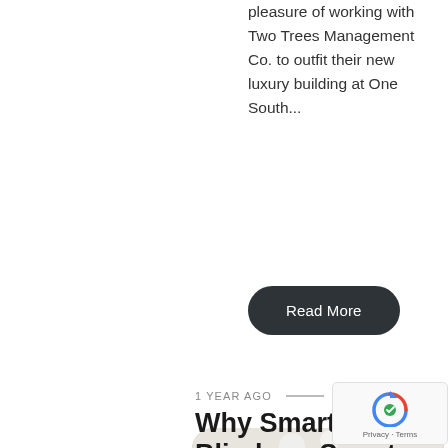pleasure of working with Two Trees Management Co. to outfit their new luxury building at One South...
Read More
[Figure (photo): Modern luxury living room with large windows overlooking greenery, white globe pendant lights, beige sofas, glass coffee table, hardwood floors, and open kitchen area in the background.]
1 YEAR AGO
Why Smart Blinds or Smart Shades?